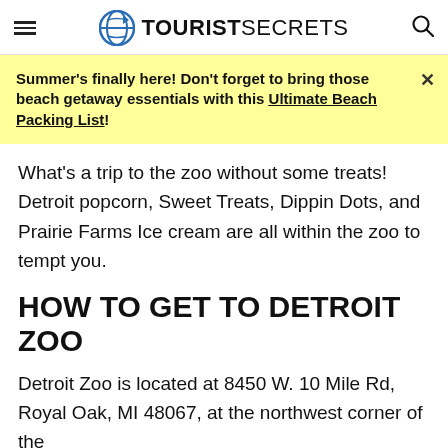TOURISTSECRETS
Summer's finally here! Don't forget to bring those beach getaway essentials with this Ultimate Beach Packing List!
What's a trip to the zoo without some treats! Detroit popcorn, Sweet Treats, Dippin Dots, and Prairie Farms Ice cream are all within the zoo to tempt you.
HOW TO GET TO DETROIT ZOO
Detroit Zoo is located at 8450 W. 10 Mile Rd, Royal Oak, MI 48067, at the northwest corner of the